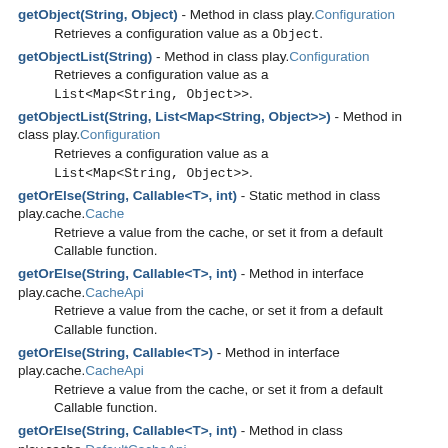getObject(String, Object) - Method in class play.Configuration
Retrieves a configuration value as a Object.
getObjectList(String) - Method in class play.Configuration
Retrieves a configuration value as a List<Map<String, Object>>.
getObjectList(String, List<Map<String, Object>>) - Method in class play.Configuration
Retrieves a configuration value as a List<Map<String, Object>>.
getOrElse(String, Callable<T>, int) - Static method in class play.cache.Cache
Retrieve a value from the cache, or set it from a default Callable function.
getOrElse(String, Callable<T>, int) - Method in interface play.cache.CacheApi
Retrieve a value from the cache, or set it from a default Callable function.
getOrElse(String, Callable<T>) - Method in interface play.cache.CacheApi
Retrieve a value from the cache, or set it from a default Callable function.
getOrElse(String, Callable<T>, int) - Method in class play.cache.DefaultCacheApi